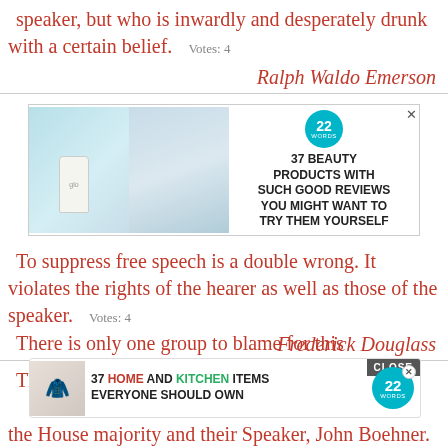speaker, but who is inwardly and desperately drunk with a certain belief. Votes: 4
Ralph Waldo Emerson
[Figure (screenshot): Advertisement banner: 37 Beauty Products With Such Good Reviews You Might Want To Try Them Yourself, with a woman and beauty product bottle image, 22 Words badge]
To suppress free speech is a double wrong. It violates the rights of the hearer as well as those of the speaker. Votes: 4
Frederick Douglass
There is only one group to blame for this continuing problems: the House majority and their Speaker, John Boehner. Votes: 4
[Figure (screenshot): Advertisement overlay: 37 Home and Kitchen Items Everyone Should Own, with 22 Words badge and close button]